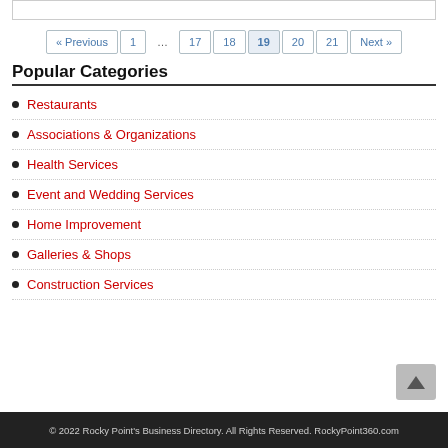« Previous  1  …  17  18  19  20  21  Next »
Popular Categories
Restaurants
Associations & Organizations
Health Services
Event and Wedding Services
Home Improvement
Galleries & Shops
Construction Services
© 2022 Rocky Point's Business Directory. All Rights Reserved. RockyPoint360.com